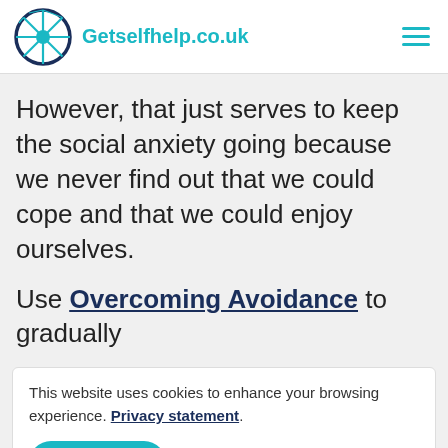Getselfhelp.co.uk
However, that just serves to keep the social anxiety going because we never find out that we could cope and that we could enjoy ourselves.
Use Overcoming Avoidance to gradually
This website uses cookies to enhance your browsing experience. Privacy statement.
ACCEPT